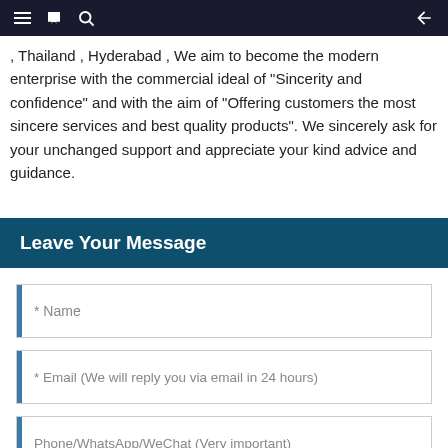Navigation bar with hamburger menu, book icon, search icon, and back arrow
, Thailand , Hyderabad , We aim to become the modern enterprise with the commercial ideal of "Sincerity and confidence" and with the aim of "Offering customers the most sincere services and best quality products". We sincerely ask for your unchanged support and appreciate your kind advice and guidance.
Leave Your Message
* Name
* Email (We will reply you via email in 24 hours)
Phone/WhatsApp/WeChat (Very important)
* Enter product details such as size, color, materials, etc. and